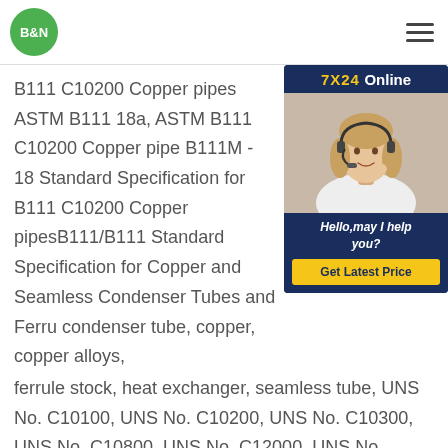B&N | 7X24 Online support
B111 C10200 Copper pipes ASTM B111 18a, ASTM B111 C10200 Copper pipes B111M - 18 Standard Specification for B111 C10200 Copper pipesB111/B111M Standard Specification for Copper and Seamless Condenser Tubes and Ferrule condenser tube, copper, copper alloys, ferrule stock, heat exchanger, seamless tube, UNS No. C10100, UNS No. C10200, UNS No. C10300, UNS No. C10800, UNS No. C12000, UNS No. C12200, UNS No. C14200, UNS No. C19200, UNS No. C23000, UNS No. C28000,
[Figure (photo): Customer service representative with headset, 7X24 Online chat widget with Hello may I help you text and Get Latest Price button]